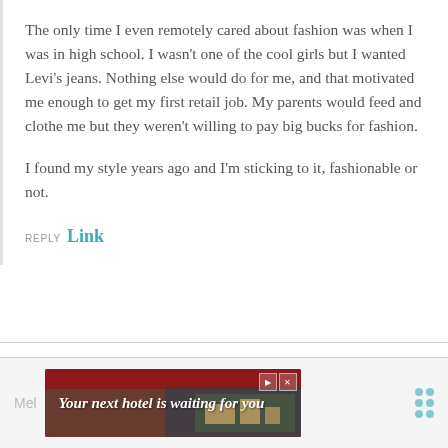The only time I even remotely cared about fashion was when I was in high school. I wasn't one of the cool girls but I wanted Levi's jeans. Nothing else would do for me, and that motivated me enough to get my first retail job. My parents would feed and clothe me but they weren't willing to pay big bucks for fashion.
I found my style years ago and I'm sticking to it, fashionable or not.
REPLY Link
[Figure (other): Advertisement banner: red background with scenic hotel/landscape photo and text 'Your next hotel is waiting for you' in white italic font. Has play and close buttons in top right corner.]